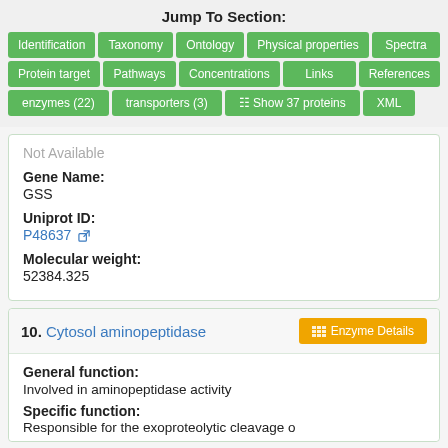Jump To Section:
Identification | Taxonomy | Ontology | Physical properties | Spectra
Protein target | Pathways | Concentrations | Links | References
enzymes (22) | transporters (3) | Show 37 proteins | XML
Not Available
Gene Name:
GSS
Uniprot ID:
P48637
Molecular weight:
52384.325
10. Cytosol aminopeptidase
General function:
Involved in aminopeptidase activity
Specific function:
Responsible for the exoproteolytic cleavage...